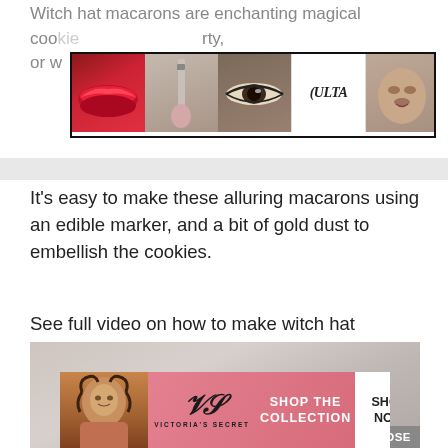Witch hat macarons are enchanting magical coo... rty, or w...
[Figure (photo): Ulta Beauty advertisement banner with makeup images (lips, brush, eyes, Ulta logo, face) and SHOP NOW button]
It's easy to make these alluring macarons using an edible marker, and a bit of gold dust to embellish the cookies.
See full video on how to make witch hat macarons at the bottom of the page.
[Figure (photo): Bottom image of light-colored surface/background, partially cropped]
[Figure (photo): Victoria's Secret advertisement banner with model, VS logo, SHOP THE COLLECTION text, and SHOP NOW button]